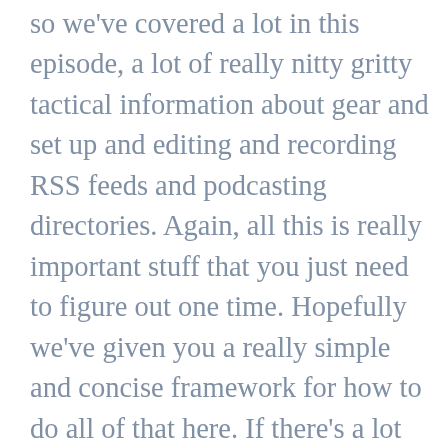so we've covered a lot in this episode, a lot of really nitty gritty tactical information about gear and set up and editing and recording RSS feeds and podcasting directories. Again, all this is really important stuff that you just need to figure out one time. Hopefully we've given you a really simple and concise framework for how to do all of that here. If there's a lot more information about all of this stuff on our blog, if you want to go to dot com slash blog search for our how to start a podcast post, and it runs through all of this and a lot of detail, we have a lot of videos there as well. But suffice it to say, this is information that we need to figure out and get done once at the beginning, and then from there we're going to focus all of our efforts on an ongoing basis